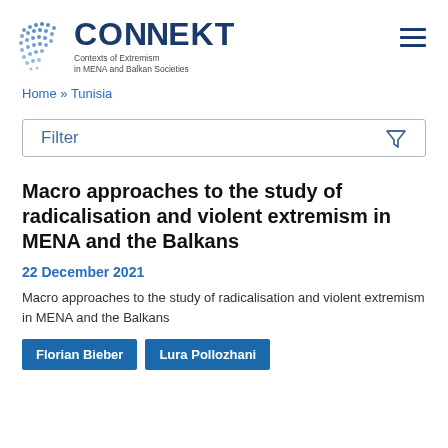CONNEKT — Contexts of Extremism in MENA and Balkan Societies
Home » Tunisia
Filter
Macro approaches to the study of radicalisation and violent extremism in MENA and the Balkans
22 December 2021
Macro approaches to the study of radicalisation and violent extremism in MENA and the Balkans
Florian Bieber
Lura Pollozhani